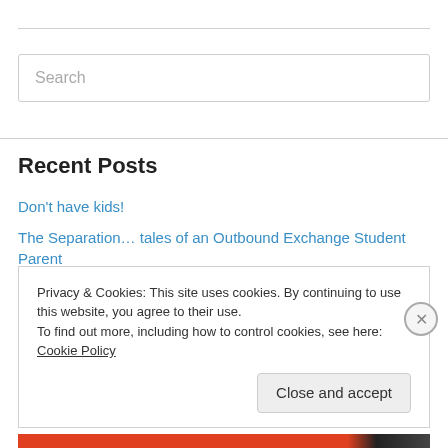Search
Recent Posts
Don't have kids!
The Separation… tales of an Outbound Exchange Student Parent
First Knot
1/365 2015
Another Day
Privacy & Cookies: This site uses cookies. By continuing to use this website, you agree to their use.
To find out more, including how to control cookies, see here: Cookie Policy
Close and accept